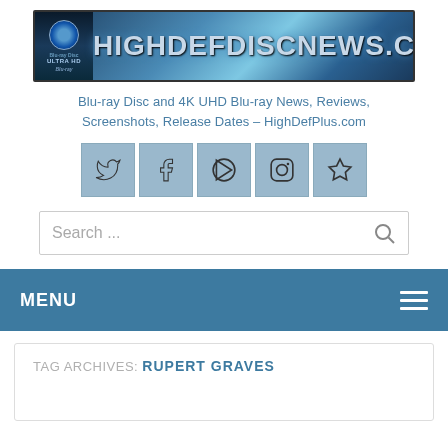[Figure (logo): HighDefDiscNews.com logo banner with Blu-ray Disc and Ultra HD Blu-ray branding on the left, large stylized text HIGHDEFDISCNEWS.COM on a blue gradient background]
Blu-ray Disc and 4K UHD Blu-ray News, Reviews, Screenshots, Release Dates – HighDefPlus.com
[Figure (infographic): Social media icon buttons: Twitter, Facebook, YouTube, Instagram, and a star/favorites icon, all on light blue square buttons]
[Figure (screenshot): Search bar with placeholder text 'Search ...' and a magnifying glass icon]
MENU
TAG ARCHIVES: RUPERT GRAVES